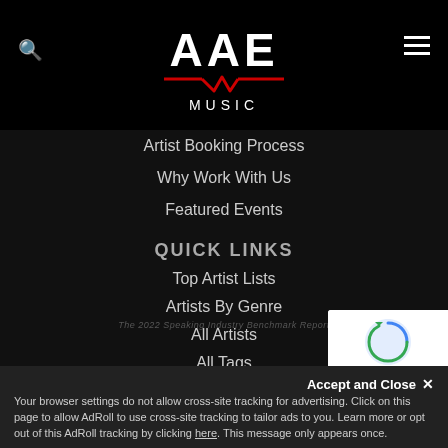[Figure (logo): AAE MUSIC logo in white on black background with red underline accent and music waveform symbol]
Artist Booking Process
Why Work With Us
Featured Events
QUICK LINKS
Top Artist Lists
Artists By Genre
All Artists
All Tags
Book Now
LEARN MORE
Contact Us
Meet Our Team
Accept and Close ✕
Your browser settings do not allow cross-site tracking for advertising. Click on this page to allow AdRoll to use cross-site tracking to tailor ads to you. Learn more or opt out of this AdRoll tracking by clicking here. This message only appears once.